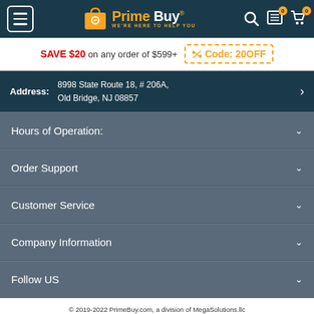PrimeBuy® WE'RE HERE TO HELP YOU
SAVE $20 on any order of $599+ Code: 20OFF
Address: 8998 State Route 18, # 206A, Old Bridge, NJ 08857
Hours of Operation:
Order Support
Customer Service
Company Information
Follow US
© 2019-2022 PrimeBuy.com, a division of MegaSolutions.llc
Prime Buy is a trademark registered in the US Patent and Trademark Office.
Any unauthorized copying without permission of PrimeBuy.com is prohibited.